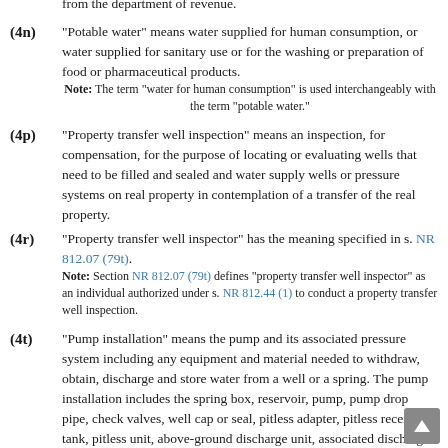from the department of revenue.
(4n) "Potable water" means water supplied for human consumption, or water supplied for sanitary use or for the washing or preparation of food or pharmaceutical products.
Note: The term “water for human consumption” is used interchangeably with the term “potable water.”
(4p) "Property transfer well inspection" means an inspection, for compensation, for the purpose of locating or evaluating wells that need to be filled and sealed and water supply wells or pressure systems on real property in contemplation of a transfer of the real property.
(4r) "Property transfer well inspector" has the meaning specified in s. NR 812.07 (79t).
Note: Section NR 812.07 (79t) defines “property transfer well inspector” as an individual authorized under s. NR 812.44 (1) to conduct a property transfer well inspection.
(4t) "Pump installation" means the pump and its associated pressure system including any equipment and material needed to withdraw, obtain, discharge and store water from a well or a spring. The pump installation includes the spring box, reservoir, pump, pump drop pipe, check valves, well cap or seal, pitless adapter, pitless receiver tank, pitless unit, above-ground discharge unit, associated discharge piping and associated connections, valves and appurtenances, pressure tank, sampling faucet, water storage or pressure vessel or structure, the electrical wiring and controls needed to operate